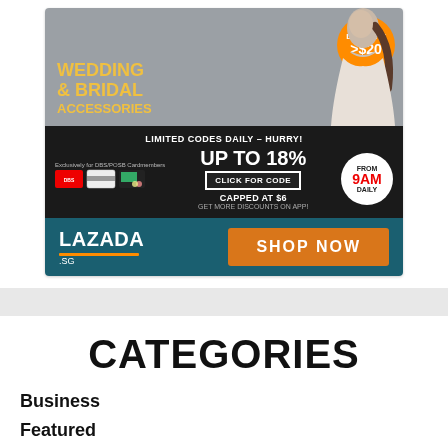[Figure (infographic): Lazada Singapore advertisement for Wedding & Bridal Accessories. Features a model in white dress, delivery badge showing >$20, limited time promo codes up to 18% off, capped at $6, from 9AM daily, click for code button, DBS/POSB cardmembers exclusive, and SHOP NOW button on teal background.]
CATEGORIES
Business
Featured
Insurance
Personal Finance